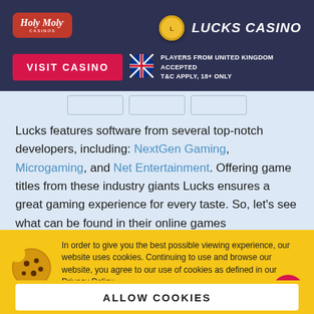Holy Moly Casinos | Lucks Casino
[Figure (logo): Holy Moly Casinos logo (red rounded rectangle) and Lucks Casino logo (gold coin + bold italic text) on dark navy header]
VISIT CASINO — PLAYERS FROM UNITED KINGDOM ACCEPTED T&C APPLY, 18+ ONLY
Lucks features software from several top-notch developers, including: NextGen Gaming, Microgaming, and Net Entertainment. Offering game titles from these industry giants Lucks ensures a great gaming experience for every taste. So, let's see what can be found in their online games
In order to give you the best possible viewing experience, our website uses cookies. Continuing to use and browse our website, you agree to our use of cookies as defined in our Privacy Policy.
ALLOW COOKIES